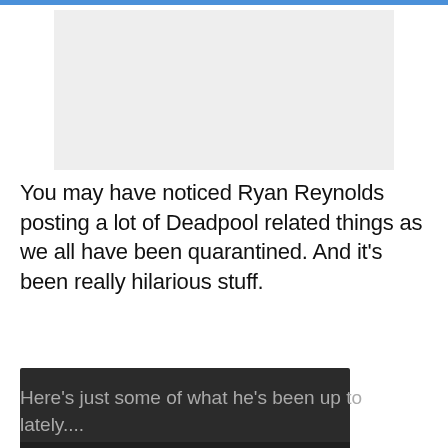[Figure (screenshot): Top portion of a webpage with a light gray image/banner placeholder area and a blue progress bar at the very top of the browser]
You may have noticed Ryan Reynolds posting a lot of Deadpool related things as we all have been quarantined. And it’s been really hilarious stuff.
[Figure (screenshot): Embedded video player with dark background showing 0:00 timestamp, play button, mute icon, fullscreen icon, and more options icon, with a progress bar at the bottom]
Here’s just some of what he’s been up to lately....